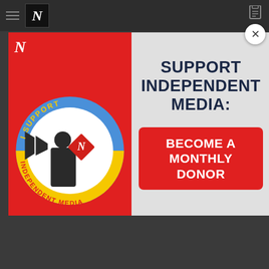The Nation - navigation bar with hamburger menu and logo
[Figure (illustration): Circular badge with 'I SUPPORT INDEPENDENT MEDIA' text around the edge and a boy with a megaphone in the center, with The Nation N logo. Red background panel with white N logo top-left.]
SUPPORT INDEPENDENT MEDIA:
BECOME A MONTHLY DONOR